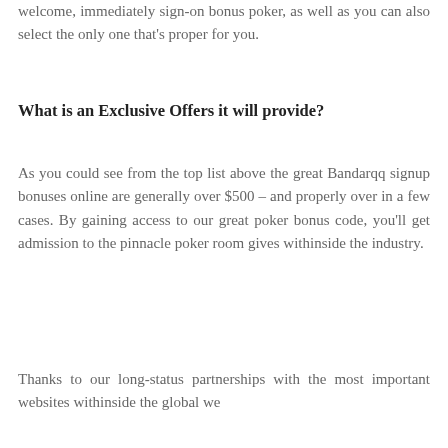welcome, immediately sign-on bonus poker, as well as you can also select the only one that's proper for you.
What is an Exclusive Offers it will provide?
As you could see from the top list above the great Bandarqq signup bonuses online are generally over $500 – and properly over in a few cases. By gaining access to our great poker bonus code, you'll get admission to the pinnacle poker room gives withinside the industry.
Thanks to our long-status partnerships with the most important websites withinside the global we